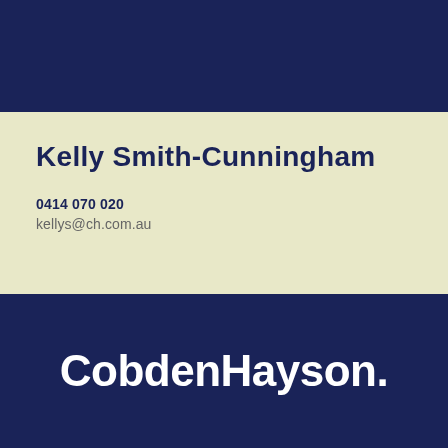[Figure (other): Dark navy blue top banner bar]
Kelly Smith-Cunningham
0414 070 020
kellys@ch.com.au
[Figure (logo): CobdenHayson. logo in white text on dark navy background at bottom of page]